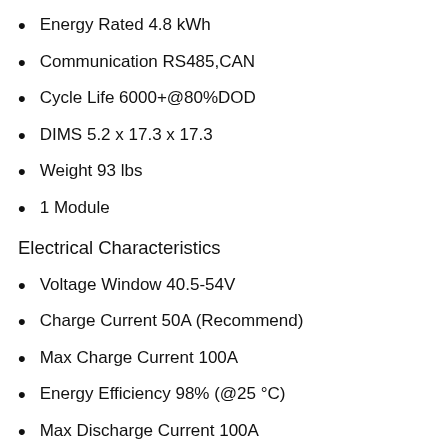Energy Rated 4.8 kWh
Communication RS485,CAN
Cycle Life 6000+@80%DOD
DIMS 5.2 x 17.3 x 17.3
Weight 93 lbs
1 Module
Electrical Characteristics
Voltage Window 40.5-54V
Charge Current 50A (Recommend)
Max Charge Current 100A
Energy Efficiency 98% (@25 °C)
Max Discharge Current 100A